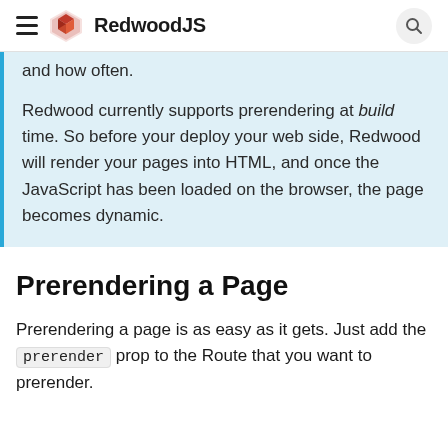RedwoodJS
and how often.
Redwood currently supports prerendering at build time. So before your deploy your web side, Redwood will render your pages into HTML, and once the JavaScript has been loaded on the browser, the page becomes dynamic.
Prerendering a Page
Prerendering a page is as easy as it gets. Just add the prerender prop to the Route that you want to prerender.